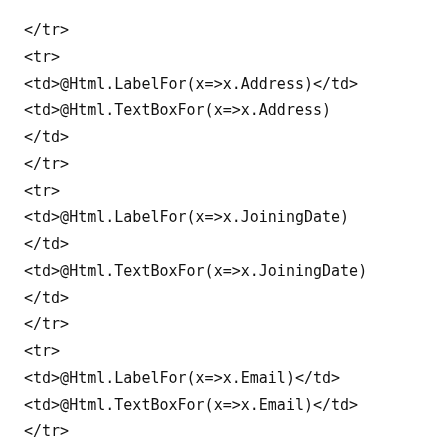</tr>
<tr>
<td>@Html.LabelFor(x=>x.Address)</td>
<td>@Html.TextBoxFor(x=>x.Address)
</td>
</tr>
<tr>
<td>@Html.LabelFor(x=>x.JoiningDate)
</td>
<td>@Html.TextBoxFor(x=>x.JoiningDate)
</td>
</tr>
<tr>
<td>@Html.LabelFor(x=>x.Email)</td>
<td>@Html.TextBoxFor(x=>x.Email)</td>
</tr>